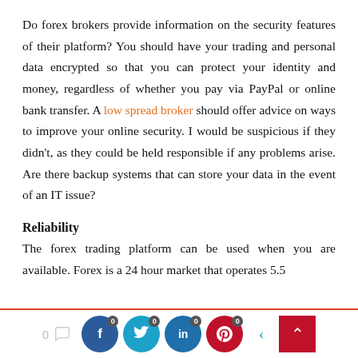Do forex brokers provide information on the security features of their platform? You should have your trading and personal data encrypted so that you can protect your identity and money, regardless of whether you pay via PayPal or online bank transfer. A low spread broker should offer advice on ways to improve your online security. I would be suspicious if they didn't, as they could be held responsible if any problems arise. Are there backup systems that can store your data in the event of an IT issue?
Reliability
The forex trading platform can be used when you are available. Forex is a 24 hour market that operates 5.5
0 [comment] [facebook 0] [twitter 0] [linkedin 0] [pinterest 0] [<] [^]